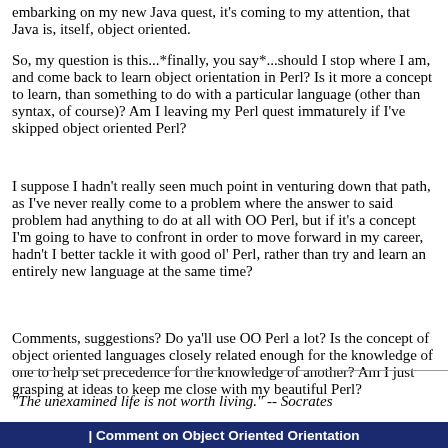embarking on my new Java quest, it's coming to my attention, that Java is, itself, object oriented.
So, my question is this...*finally, you say*...should I stop where I am, and come back to learn object orientation in Perl? Is it more a concept to learn, than something to do with a particular language (other than syntax, of course)? Am I leaving my Perl quest immaturely if I've skipped object oriented Perl?
I suppose I hadn't really seen much point in venturing down that path, as I've never really come to a problem where the answer to said problem had anything to do at all with OO Perl, but if it's a concept I'm going to have to confront in order to move forward in my career, hadn't I better tackle it with good ol' Perl, rather than try and learn an entirely new language at the same time?
Comments, suggestions? Do ya'll use OO Perl a lot? Is the concept of object oriented languages closely related enough for the knowledge of one to help set precedence for the knowledge of another? Am I just grasping at ideas to keep me close with my beautiful Perl?
"The unexamined life is not worth living." -- Socrates
| Comment on Object Oriented Orientation